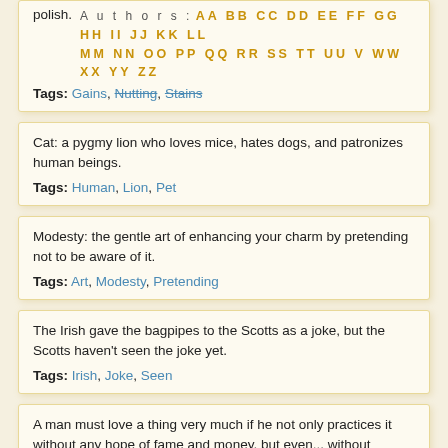polish.
Authors: AA BB CC DD EE FF GG HH II JJ KK LL MM NN OO PP QQ RR SS TT UU V WW XX YY ZZ
Tags: Gains, Nutting, Stains
Cat: a pygmy lion who loves mice, hates dogs, and patronizes human beings.
Tags: Human, Lion, Pet
Modesty: the gentle art of enhancing your charm by pretending not to be aware of it.
Tags: Art, Modesty, Pretending
The Irish gave the bagpipes to the Scotts as a joke, but the Scotts haven't seen the joke yet.
Tags: Irish, Joke, Seen
A man must love a thing very much if he not only practices it without any hope of fame and money, but even... without